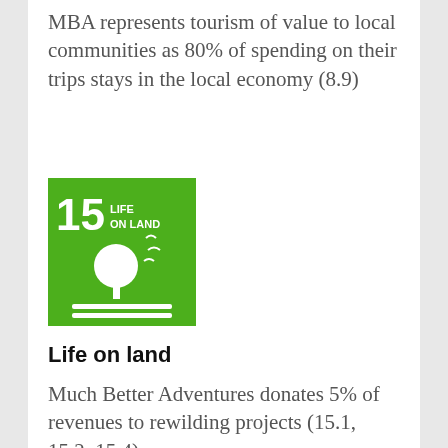MBA represents tourism of value to local communities as 80% of spending on their trips stays in the local economy (8.9)
[Figure (illustration): UN Sustainable Development Goal 15 - Life on Land icon. Green square with number 15, text 'LIFE ON LAND', white tree and birds illustration, horizontal lines at bottom.]
Life on land
Much Better Adventures donates 5% of revenues to rewilding projects (15.1, 15.2, 15.4)